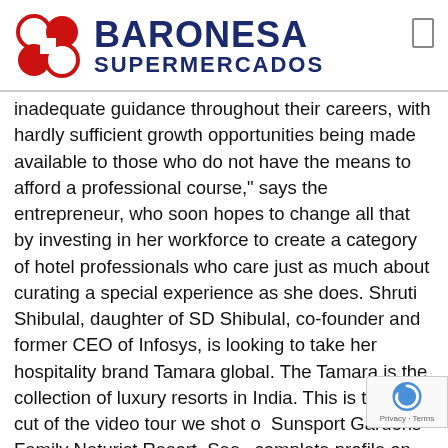BARONESA SUPERMERCADOS
inadequate guidance throughout their careers, with hardly sufficient growth opportunities being made available to those who do not have the means to afford a professional course," says the entrepreneur, who soon hopes to change all that by investing in her workforce to create a category of hotel professionals who care just as much about curating a special experience as she does. Shruti Shibulal, daughter of SD Shibulal, co-founder and former CEO of Infosys, is looking to take her hospitality brand Tamara global. The Tamara is the collection of luxury resorts in India. This is the final cut of the video tour we shot o... Sunsport Gardens Family Naturist Resort. See ... complete profile on LinkedIn and discover Shreyas